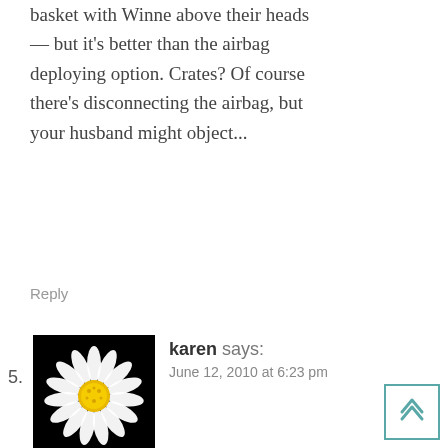basket with Winne above their heads — but it's better than the airbag deploying option. Crates? Of course there's disconnecting the airbag, but your husband might object...
Reply
5. karen says:
[Figure (photo): Avatar image of a white daisy flower on a black background]
June 12, 2010 at 6:23 pm
I have a Kurgo harness (not unlike that pictured with this article) that my toy poodle wears in the car — he seems to like it, I think it makes him feel more secure. Here's a photo of him in his car harness: http://www.amazon.com/gp/customer-media/product-